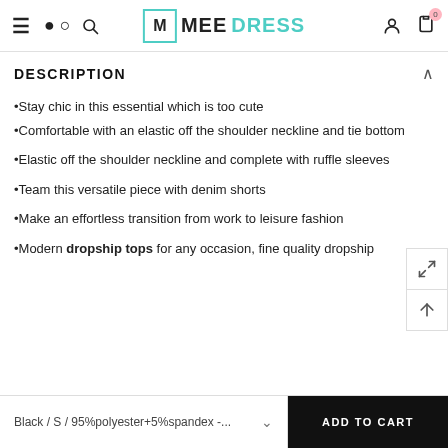MEEDRESS — navigation bar with hamburger menu, search, logo, user and cart icons
DESCRIPTION
•Stay chic in this essential which is too cute
•Comfortable with an elastic off the shoulder neckline and tie bottom
•Elastic off the shoulder neckline and complete with ruffle sleeves
•Team this versatile piece with denim shorts
•Make an effortless transition from work to leisure fashion
•Modern dropship tops for any occasion, fine quality dropship
Black / S / 95%polyester+5%spandex -...
ADD TO CART